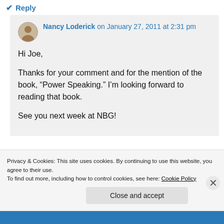↩ Reply
Nancy Loderick on January 27, 2011 at 2:31 pm
Hi Joe,

Thanks for your comment and for the mention of the book, “Power Speaking.” I’m looking forward to reading that book.

See you next week at NBG!
Privacy & Cookies: This site uses cookies. By continuing to use this website, you agree to their use.
To find out more, including how to control cookies, see here: Cookie Policy
Close and accept